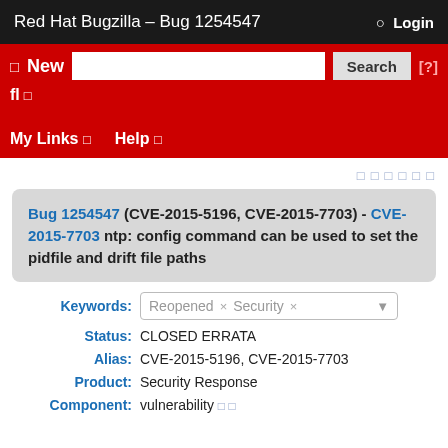Red Hat Bugzilla – Bug 1254547
Bug 1254547 (CVE-2015-5196, CVE-2015-7703) - CVE-2015-7703 ntp: config command can be used to set the pidfile and drift file paths
Keywords: Reopened × Security ×
Status: CLOSED ERRATA
Alias: CVE-2015-5196, CVE-2015-7703
Product: Security Response
Component: vulnerability